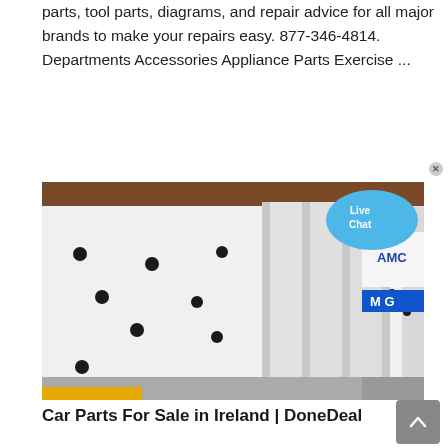parts, tool parts, diagrams, and repair advice for all major brands to make your repairs easy. 877-346-4814. Departments Accessories Appliance Parts Exercise ...
[Figure (photo): Close-up photo of white metal shelf/rack with vertical dividers and black circular holes/pegs, showing AMC and MG branding on the right side, with a Live Chat bubble overlay in the upper right corner.]
Car Parts For Sale in Ireland | DoneDeal